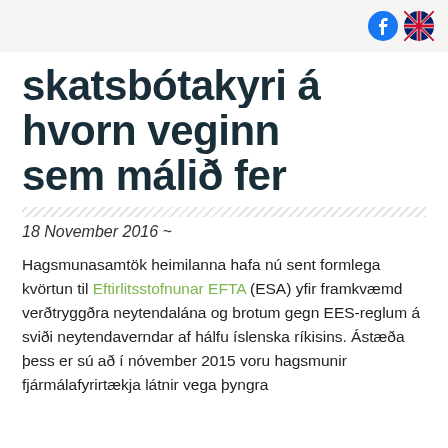[social icons: Facebook, UK flag]
skatsbótakyri á hvorn veginn sem málið fer
18 November 2016 ~
Hagsmunasamtök heimilanna hafa nú sent formlega kvörtun til Eftirlitsstofnunar EFTA (ESA) yfir framkvæmd verðtryggðra neytendalána og brotum gegn EES-reglum á sviði neytendaverndar af hálfu íslenska ríkisins. Ástæða þess er sú að í nóvember 2015 voru hagsmunir fjármálafyrirtækja látnir vega þyngra